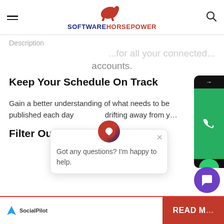SOFTWAREHORSEPOWER
Description
accounts.
Keep Your Schedule On Track
Gain a better understanding of what needs to be published each day drifting away from your...
Filter Out All Chaos
Got any questions? I'm happy to help.
SocialPilot  READ MORE